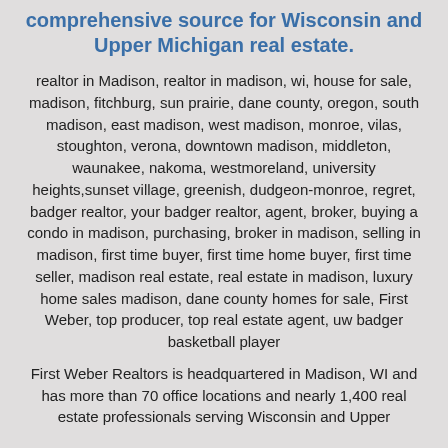comprehensive source for Wisconsin and Upper Michigan real estate.
realtor in Madison, realtor in madison, wi, house for sale, madison, fitchburg, sun prairie, dane county, oregon, south madison, east madison, west madison, monroe, vilas, stoughton, verona, downtown madison, middleton, waunakee, nakoma, westmoreland, university heights,sunset village, greenish, dudgeon-monroe, regret, badger realtor, your badger realtor, agent, broker, buying a condo in madison, purchasing, broker in madison, selling in madison, first time buyer, first time home buyer, first time seller, madison real estate, real estate in madison, luxury home sales madison, dane county homes for sale, First Weber, top producer, top real estate agent, uw badger basketball player
First Weber Realtors is headquartered in Madison, WI and has more than 70 office locations and nearly 1,400 real estate professionals serving Wisconsin and Upper